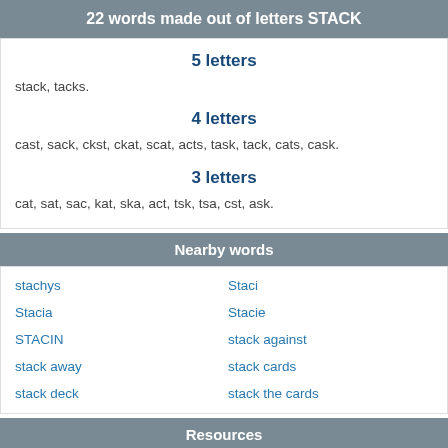22 words made out of letters STACK
5 letters
stack, tacks.
4 letters
cast, sack, ckst, ckat, scat, acts, task, tack, cats, cask.
3 letters
cat, sat, sac, kat, ska, act, tsk, tsa, cst, ask.
Nearby words
stachys
Staci
Stacia
Stacie
STACIN
stack against
stack away
stack cards
stack deck
stack the cards
Resources